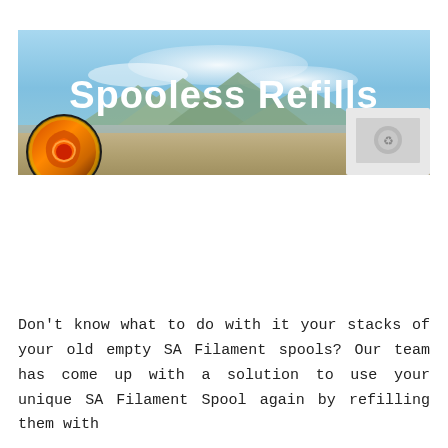[Figure (photo): Banner image with blue sky, mountains, and landscape background. Large white bold text reads 'Spooless Refills' overlaid on the image. A colorful circular logo (SA Filament) is visible on the bottom left, and a white box/packaging is visible on the bottom right.]
Don't know what to do with it your stacks of your old empty SA Filament spools? Our team has come up with a solution to use your unique SA Filament Spool again by refilling them with